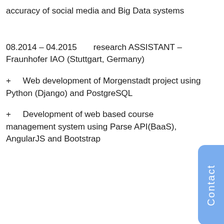accuracy of social media and Big Data systems
08.2014 – 04.2015      research ASSISTANT – Fraunhofer IAO (Stuttgart, Germany)
+      Web development of Morgenstadt project using Python (Django) and PostgreSQL
+      Development of web based course management system using Parse API(BaaS), AngularJS and Bootstrap